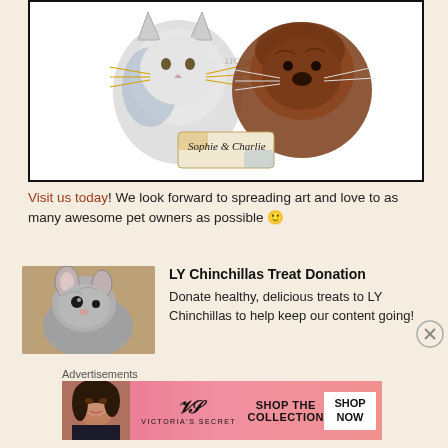[Figure (illustration): Watercolor illustration of a cat and dog side by side (Sophie and Charlie), with whiskers, inside a black-bordered frame. A small painted label at bottom reads 'Sophie & Charlie'.]
Visit us today! We look forward to spreading art and love to as many awesome pet owners as possible 🙂
[Figure (photo): Photo of a chinchilla.]
LY Chinchillas Treat Donation
Donate healthy, delicious treats to LY Chinchillas to help keep our content going!
Advertisements
[Figure (illustration): Victoria's Secret advertisement banner showing a woman's face on left, the VS logo and 'Victoria's Secret' text in center, 'SHOP THE COLLECTION' text, and a white 'SHOP NOW' button on right.]